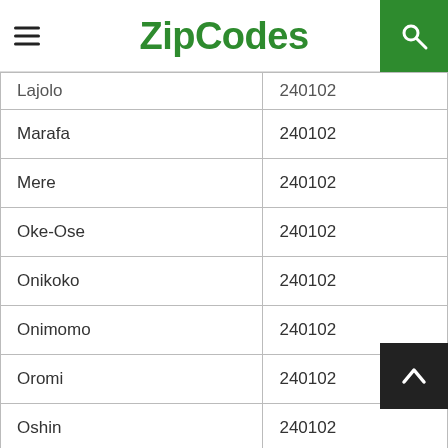ZipCodes
| Location | Zip Code |
| --- | --- |
| Lajolo | 240102 |
| Marafa | 240102 |
| Mere | 240102 |
| Oke-Ose | 240102 |
| Onikoko | 240102 |
| Onimomo | 240102 |
| Oromi | 240102 |
| Oshin | 240102 |
| Oyo | 240102 |
| Panada | 240102 |